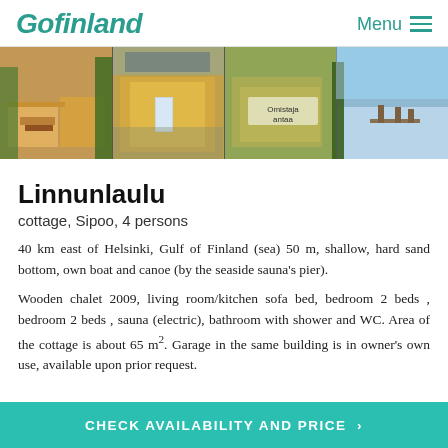Gofinland | Menu
[Figure (photo): Four photos showing a Finnish cottage: outdoor seating area with yellow building, cottage exterior with driveway, middle photo with text overlay 'Omistaja antaa', lakeside view with dock and calm water.]
Linnunlaulu
cottage, Sipoo, 4 persons
40 km east of Helsinki, Gulf of Finland (sea) 50 m, shallow, hard sand bottom, own boat and canoe (by the seaside sauna's pier).
Wooden chalet 2009, living room/kitchen sofa bed, bedroom 2 beds , bedroom 2 beds , sauna (electric), bathroom with shower and WC. Area of the cottage is about 65 m². Garage in the same building is in owner's own use, available upon prior request.
CHECK AVAILABILITY AND PRICE >